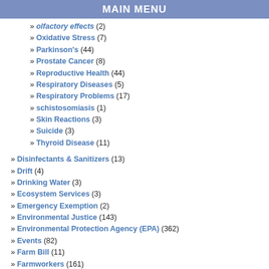MAIN MENU
» olfactory effects (2)
» Oxidative Stress (7)
» Parkinson's (44)
» Prostate Cancer (8)
» Reproductive Health (44)
» Respiratory Diseases (5)
» Respiratory Problems (17)
» schistosomiasis (1)
» Skin Reactions (3)
» Suicide (3)
» Thyroid Disease (11)
» Disinfectants & Sanitizers (13)
» Drift (4)
» Drinking Water (3)
» Ecosystem Services (3)
» Emergency Exemption (2)
» Environmental Justice (143)
» Environmental Protection Agency (EPA) (362)
» Events (82)
» Farm Bill (11)
» Farmworkers (161)
► Federal Agencies (205)
► Fertilizer (18)
► fish (10)